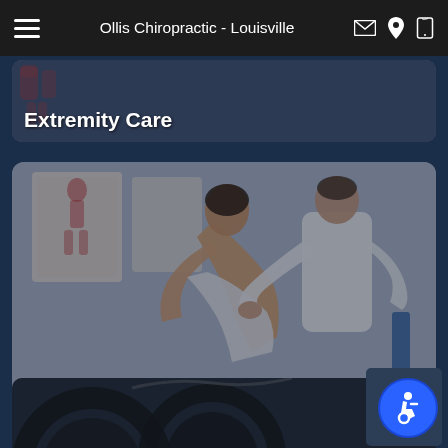Ollis Chiropractic - Louisville
Extremity Care
[Figure (photo): Chiropractor performing postural/spinal adjustment on a patient's neck/back in a clinical setting]
Postural Corrective Care
[Figure (photo): Partial view of automotive or equipment scene at bottom of page]